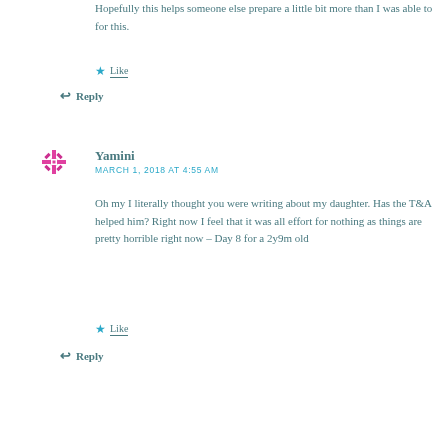Hopefully this helps someone else prepare a little bit more than I was able to for this.
★ Like
↩ Reply
Yamini
MARCH 1, 2018 AT 4:55 AM
Oh my I literally thought you were writing about my daughter. Has the T&A helped him? Right now I feel that it was all effort for nothing as things are pretty horrible right now – Day 8 for a 2y9m old
★ Like
↩ Reply